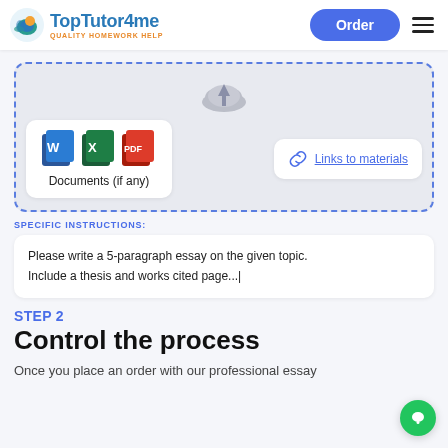TopTutor4me — QUALITY HOMEWORK HELP
[Figure (screenshot): Upload area with dashed blue border showing cloud upload icon, Word/Excel/PDF document icons labeled 'Documents (if any)', and a 'Links to materials' button]
SPECIFIC INSTRUCTIONS:
Please write a 5-paragraph essay on the given topic. Include a thesis and works cited page...|
STEP 2
Control the process
Once you place an order with our professional essay